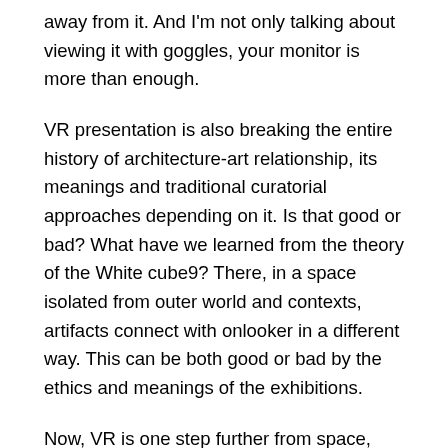away from it. And I'm not only talking about viewing it with goggles, your monitor is more than enough.
VR presentation is also breaking the entire history of architecture-art relationship, its meanings and traditional curatorial approaches depending on it. Is that good or bad? What have we learned from the theory of the White cube9? There, in a space isolated from outer world and contexts, artifacts connect with onlooker in a different way. This can be both good or bad by the ethics and meanings of the exhibitions.
Now, VR is one step further from space, away from any context (other than the interface) and also away from the way of our physical perception, including our senses' calibrations that we have been practicing for millions of years in physical world. There's a term in neuroscience – Corollary discharge10. Shortly, it's a brain function